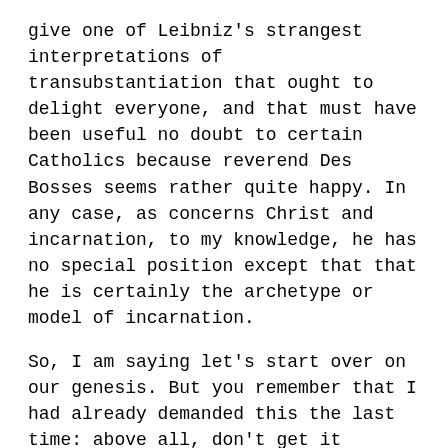give one of Leibniz's strangest interpretations of transubstantiation that ought to delight everyone, and that must have been useful no doubt to certain Catholics because reverend Des Bosses seems rather quite happy. In any case, as concerns Christ and incarnation, to my knowledge, he has no special position except that that he is certainly the archetype or model of incarnation.
So, I am saying let's start over on our genesis. But you remember that I had already demanded this the last time: above all, don't get it backwards, although one is constantly tempted to get it backwards. You recall this genesis that consists of: starting form the monad, the monad contains everything, it expresses the entire world. It expresses the entire universe. Only careful: it has a small, privileged region that it expresses specially or clearly. We saw this. Here, I'd say, is the first proposition. Second proposition: so I have a body. That's what we have